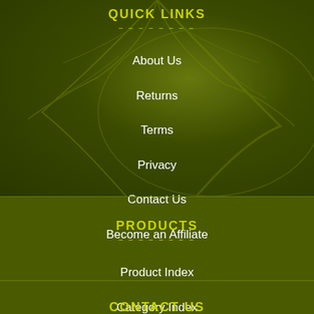QUICK LINKS
About Us
Returns
Terms
Privacy
Contact Us
Become an Affiliate
PRODUCTS
Product Index
Category Index
CONTACT US